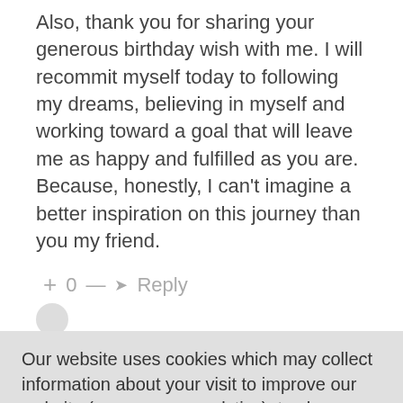Also, thank you for sharing your generous birthday wish with me. I will recommit myself today to following my dreams, believing in myself and working toward a goal that will leave me as happy and fulfilled as you are. Because, honestly, I can't imagine a better inspiration on this journey than you my friend.
+ 0 — → Reply
Our website uses cookies which may collect information about your visit to improve our website (anonymous analytics), to show you media (video and audio), targeted advertising, and social media feeds. Please see our Cookie Policy page for further details or agree by clicking the 'Accept' button.
Accept
Decline